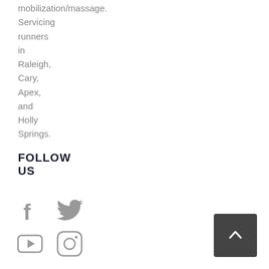mobilization/massage. Servicing runners in Raleigh, Cary, Apex, and Holly Springs.
FOLLOW US
[Figure (illustration): Social media icons: Facebook, Twitter, YouTube, Instagram]
[Figure (illustration): Back to top button with upward chevron arrow]